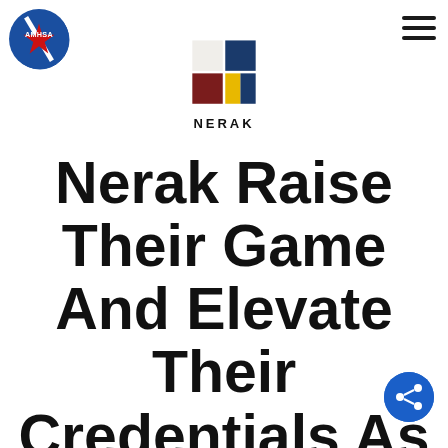[Figure (logo): AMHSA circular logo with red compass/star design and white text on blue background]
[Figure (logo): NERAK flag logo with white, dark red, yellow, and navy blue segments, accompanied by bold text 'NERAK' below]
Nerak Raise Their Game And Elevate Their Credentials As AMUSA